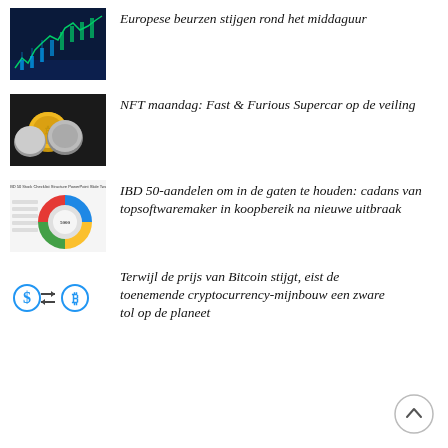[Figure (photo): Stock market chart display with blue/green candlestick chart on dark background]
Europese beurzen stijgen rond het middaguur
[Figure (photo): Stacked crypto coins (gold, silver) on dark background]
NFT maandag: Fast & Furious Supercar op de veiling
[Figure (infographic): IBD 50 stock analysis donut chart with text labels on white background]
IBD 50-aandelen om in de gaten te houden: cadans van topsoftwaremaker in koopbereik na nieuwe uitbraak
[Figure (illustration): Dollar to Bitcoin exchange icon with arrows between dollar sign and Bitcoin symbol]
Terwijl de prijs van Bitcoin stijgt, eist de toenemende cryptocurrency-mijnbouw een zware tol op de planeet